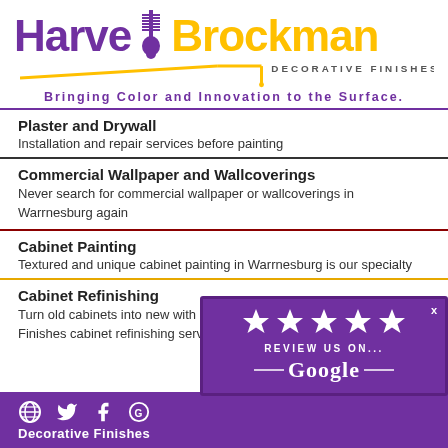[Figure (logo): Harvey Brockman Decorative Finishes logo with paint brush icon, purple and gold text, tagline 'Bringing Color and Innovation to the Surface.']
Plaster and Drywall
Installation and repair services before painting
Commercial Wallpaper and Wallcoverings
Never search for commercial wallpaper or wallcoverings in Warrnesburg again
Cabinet Painting
Textured and unique cabinet painting in Warrnesburg is our specialty
Cabinet Refinishing
Turn old cabinets into new with Harve Brockman Decorative Finishes cabinet refinishing serv...
[Figure (infographic): Purple popup overlay with 5 gold stars and text 'REVIEW US ON... Google']
Social media icons: globe, Twitter, Facebook, Google